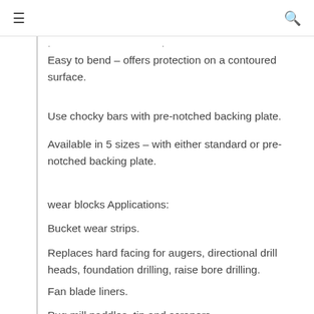≡  Q
. .
Easy to bend – offers protection on a contoured surface.
Use chocky bars with pre-notched backing plate.
Available in 5 sizes – with either standard or pre-notched backing plate.
wear blocks Applications:
Bucket wear strips.
Replaces hard facing for augers, directional drill heads, foundation drilling, raise bore drilling.
Fan blade liners.
Pug mill paddles, tip and scrapers.
Recycling industry.
Road planer skids and pick protectors.